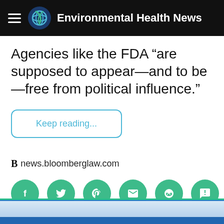Environmental Health News
Agencies like the FDA “are supposed to appear—and to be—free from political influence.”
Keep reading...
news.bloomberglaw.com